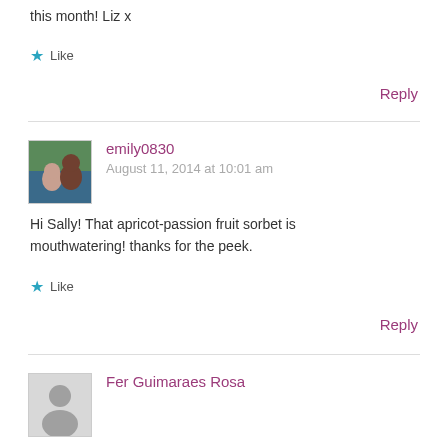this month! Liz x
Like
Reply
emily0830
August 11, 2014 at 10:01 am
Hi Sally! That apricot-passion fruit sorbet is mouthwatering! thanks for the peek.
Like
Reply
Fer Guimaraes Rosa